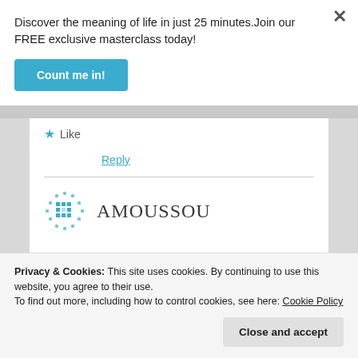Discover the meaning of life in just 25 minutes.Join our FREE exclusive masterclass today!
Count me in!
× (close button)
★ Like
Reply
[Figure (logo): AMOUSSOU brand logo with teal mosaic grid icon]
Privacy & Cookies: This site uses cookies. By continuing to use this website, you agree to their use.
To find out more, including how to control cookies, see here: Cookie Policy
Close and accept